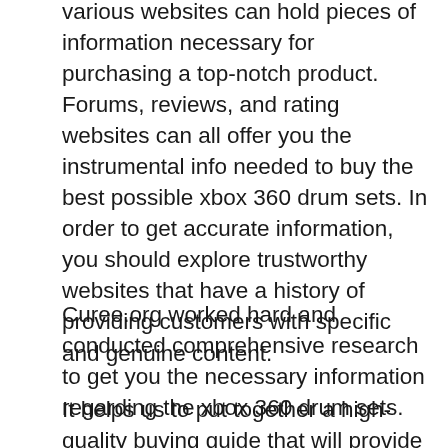various websites can hold pieces of information necessary for purchasing a top-notch product. Forums, reviews, and rating websites can all offer you the instrumental info needed to buy the best possible xbox 360 drum sets. In order to get accurate information, you should explore trustworthy websites that have a history of providing customers with specific and genuine content.
Curee.org worked hard and conducted comprehensive research to get you the necessary information regarding the xbox 360 drum sets.
It helps us to put together a high-quality buying guide that will provide you with pros and cons, features, and reasons the product